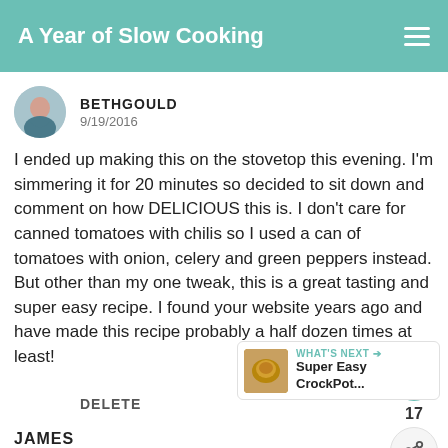A Year of Slow Cooking
BETHGOULD
9/19/2016
I ended up making this on the stovetop this evening. I'm simmering it for 20 minutes so decided to sit down and comment on how DELICIOUS this is. I don't care for canned tomatoes with chilis so I used a can of tomatoes with onion, celery and green peppers instead. But other than my one tweak, this is a great tasting and super easy recipe. I found your website years ago and have made this recipe probably a half dozen times at least!
DELETE
17
WHAT'S NEXT → Super Easy CrockPot...
JAMES